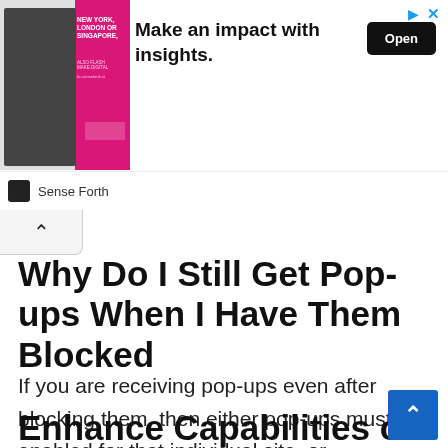[Figure (screenshot): Advertisement banner for Sense Forth: image of a man with text 'NEW YORK, LONDON OR SINGAPORE,' on left, headline 'Make an impact with insights.' in center, 'Open' button on right, Sense Forth logo and brand name at bottom.]
Why Do I Still Get Pop-ups When I Have Them Blocked
If you are receiving pop-ups even after blocking them, then either pop-ups must be enabled for that individual site, or notifications from that site must be enabled. You need to separately disable notifications.
Enhance Capabilities of